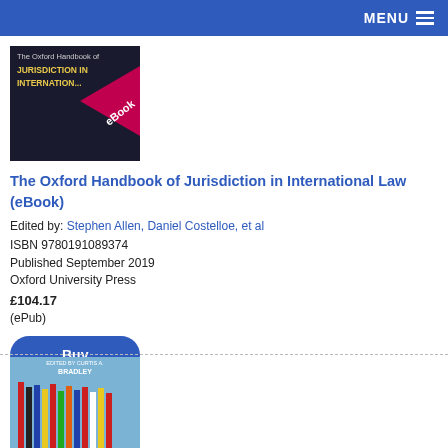MENU
[Figure (photo): Book cover of The Oxford Handbook of Jurisdiction in International Law (eBook) — dark background with red/pink eBook ribbon and gold title text]
The Oxford Handbook of Jurisdiction in International Law (eBook)
Edited by: Stephen Allen, Daniel Costelloe, et al
ISBN 9780191089374
Published September 2019
Oxford University Press
£104.17
(ePub)
Buy
[Figure (photo): Book cover of The Oxford Handbook of — shows international flags against a blue sky, edited by Curtis A. Bradley]